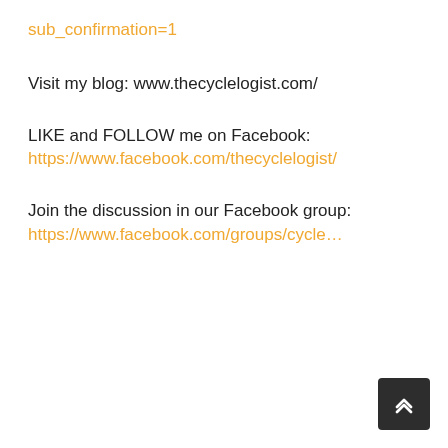sub_confirmation=1
Visit my blog: www.thecyclelogist.com/
LIKE and FOLLOW me on Facebook:
https://www.facebook.com/thecyclelogist/
Join the discussion in our Facebook group:
https://www.facebook.com/groups/cycle…